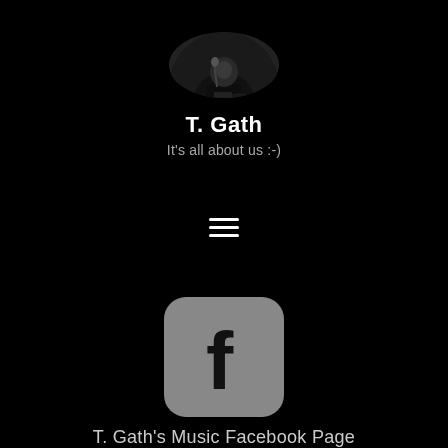[Figure (photo): Circular profile photo of a musician playing guitar in dark setting, black and white]
T. Gath
It's all about us :-)
[Figure (illustration): Hamburger menu icon — three horizontal white lines]
[Figure (logo): Facebook logo icon — rounded square with gray background and white 'f']
T. Gath's Music Facebook Page